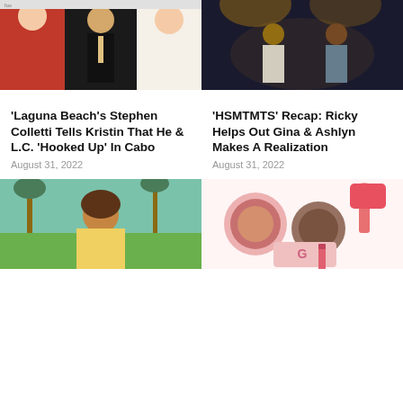[Figure (photo): Three people at a red carpet event: a woman in a red strapless outfit, a man in a black suit, and a woman in a white dress]
[Figure (photo): Two people standing on a dark stage with atmospheric lighting]
'Laguna Beach's Stephen Colletti Tells Kristin That He & L.C. 'Hooked Up' In Cabo
August 31, 2022
'HSMTMTS' Recap: Ricky Helps Out Gina & Ashlyn Makes A Realization
August 31, 2022
[Figure (photo): A young woman in a yellow jacket outdoors with palm trees in background]
[Figure (photo): Makeup and beauty products including compact cases, a brush and pink cosmetics]